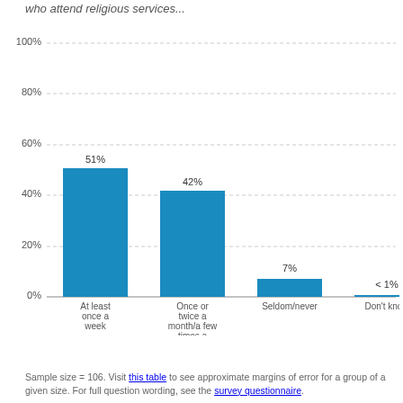who attend religious services...
[Figure (bar-chart): who attend religious services...]
Sample size = 106. Visit this table to see approximate margins of error for a group of a given size. For full question wording, see the survey questionnaire.